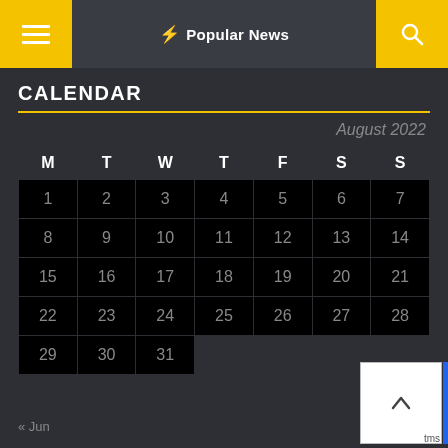Popular News
CALENDAR
August 2022
| M | T | W | T | F | S | S |
| --- | --- | --- | --- | --- | --- | --- |
| 1 | 2 | 3 | 4 | 5 | 6 | 7 |
| 8 | 9 | 10 | 11 | 12 | 13 | 14 |
| 15 | 16 | 17 | 18 | 19 | 20 | 21 |
| 22 | 23 | 24 | 25 | 26 | 27 | 28 |
| 29 | 30 | 31 |  |  |  |  |
« Jun